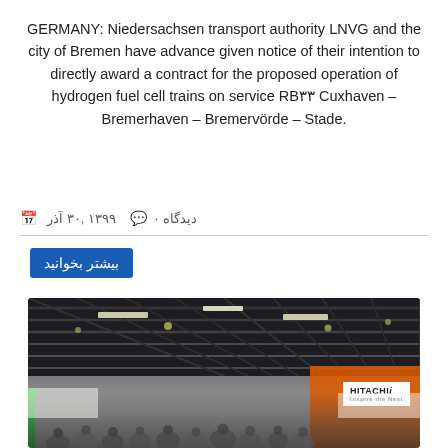GERMANY: Niedersachsen transport authority LNVG and the city of Bremen have advance given notice of their intention to directly award a contract for the proposed operation of hydrogen fuel cell trains on service RB۳۳ Cuxhaven – Bremerhaven – Bremervörde – Stade.
آذر ۳۰, ۱۳۹۹  💬 ۰ دیدگاه
بیشتر بخوانید
[Figure (photo): Exhibition hall interior showing a large trade show floor with a dark steel grid ceiling with panel lighting, crowds of visitors on the floor, and visible brand booths including Hitachi (white sign with blue text) and an orange-colored booth on the right side. A green vertical stripe is visible on the far left.]